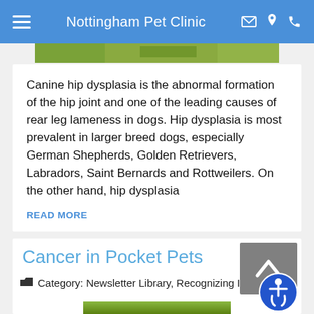Nottingham Pet Clinic
[Figure (photo): Partial outdoor photo strip, green vegetation/grass]
Canine hip dysplasia is the abnormal formation of the hip joint and one of the leading causes of rear leg lameness in dogs. Hip dysplasia is most prevalent in larger breed dogs, especially German Shepherds, Golden Retrievers, Labradors, Saint Bernards and Rottweilers. On the other hand, hip dysplasia
READ MORE
Cancer in Pocket Pets
Category: Newsletter Library, Recognizing Illness